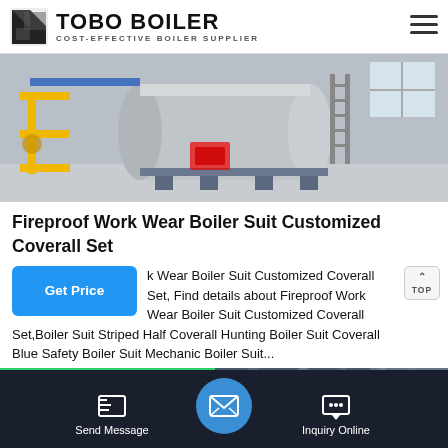TOBO BOILER — COST-EFFECTIVE BOILER SUPPLIER
[Figure (photo): Large industrial boiler with yellow pipes in a factory/warehouse setting]
Fireproof Work Wear Boiler Suit Customized Coverall Set
Fireproof Work Wear Boiler Suit Customized Coverall Set, Find details about Fireproof Work Wear Boiler Suit Customized Coverall Set,Boiler Suit Striped Half Coverall Hunting Boiler Suit Coverall Blue Safety Boiler Suit Mechanic Boiler Suit...
[Figure (photo): Industrial facility interior ceiling with WhatsApp overlay in green]
Send Message | Inquiry Online